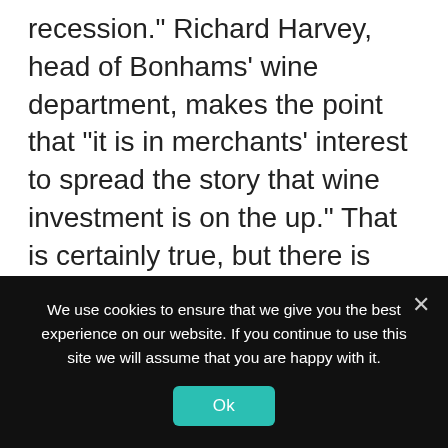recession." Richard Harvey, head of Bonhams' wine department, makes the point that "it is in merchants' interest to spread the story that wine investment is on the up." That is certainly true, but there is equally no doubting merchants' reports of unprecedented interest in 2009 Bordeaux en primeur, with record waiting lists and oversubscription. This is fueled in part by new interest from Asia, despite Robert Parker predicting otherwise. Asking himself whether the Chinese would buy futures of 2009 Bordeaux, Parker concluded,
We use cookies to ensure that we give you the best experience on our website. If you continue to use this site we will assume that you are happy with it.